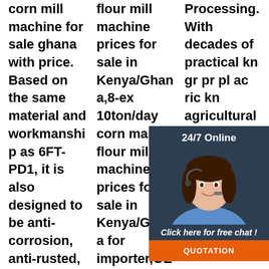corn mill machine for sale ghana with price. Based on the same material and workmanship as 6FT-PD1, it is also designed to be anti-corrosion, anti-rusted, for long useful life, durable, safe and easy after sale
flour mill machine prices for sale in Kenya/Ghana,8-ex 10ton/day corn maize flour mill machine prices for sale in Kenya/Ghana for importer,OEM 8-10ton/day corn maize flour mill machine prices for sale in Kenya/Ghana
Processing. With decades of practical knowledge in grain processing planning and achieving rice, kn agricultural processing and gain milling for bean, sorghum, cassava, rice
[Figure (other): Chat widget with a woman wearing a headset, dark background, '24/7 Online' header, 'Click here for free chat!' text, and orange QUOTATION button]
[Figure (other): Orange TOP button with decorative dots]